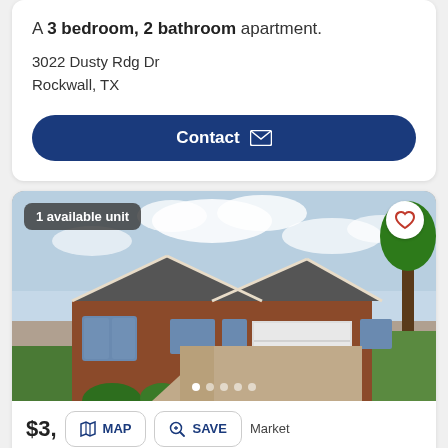A 3 bedroom, 2 bathroom apartment.
3022 Dusty Rdg Dr
Rockwall, TX
Contact
[Figure (photo): Exterior photo of a brick single-story home with a two-car garage and concrete driveway, with badge '1 available unit' and a heart icon in the top right.]
$3, ... Market
Updated 19 days ago